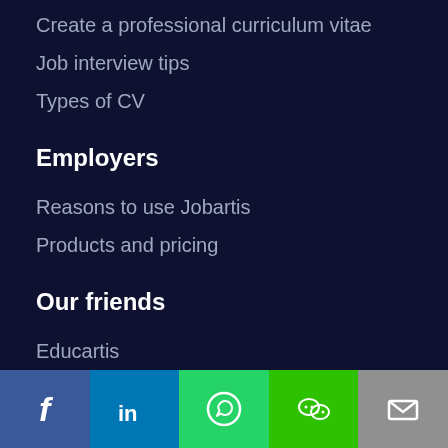Create a professional curriculum vitae
Job interview tips
Types of CV
Employers
Reasons to use Jobartis
Products and pricing
Our friends
Educartis
Jobboardfinder
Jooble
[Figure (infographic): Social sharing bar with icons for Facebook, LinkedIn, WhatsApp, WeChat, and Email]